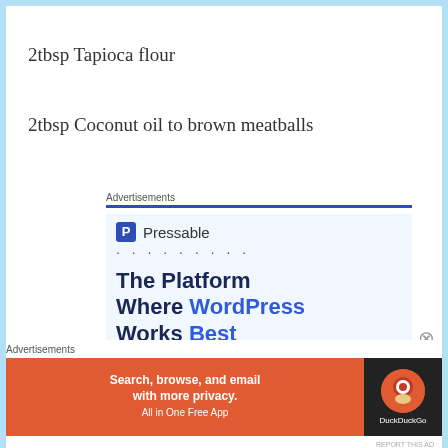2tbsp Tapioca flour
2tbsp Coconut oil to brown meatballs
[Figure (screenshot): Pressable advertisement: 'The Platform Where WordPress Works Best' with SEE PRICING button]
[Figure (screenshot): DuckDuckGo advertisement: 'Search, browse, and email with more privacy. All in One Free App']